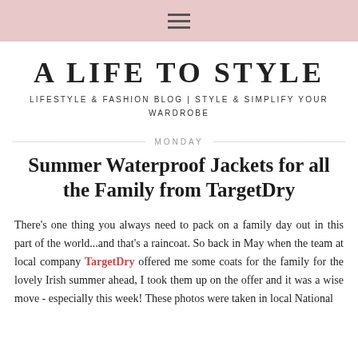≡
A LIFE TO STYLE
LIFESTYLE & FASHION BLOG | STYLE & SIMPLIFY YOUR WARDROBE
MONDAY
Summer Waterproof Jackets for all the Family from TargetDry
There's one thing you always need to pack on a family day out in this part of the world...and that's a raincoat. So back in May when the team at local company TargetDry offered me some coats for the family for the lovely Irish summer ahead, I took them up on the offer and it was a wise move - especially this week! These photos were taken in local National